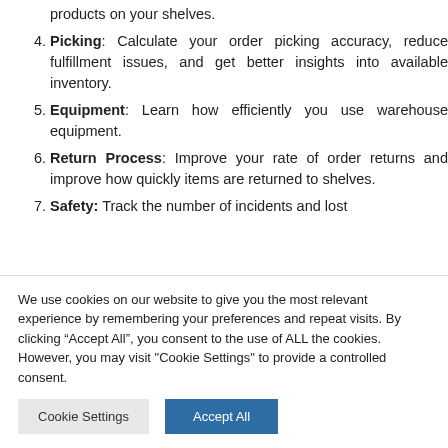products on your shelves.
Picking: Calculate your order picking accuracy, reduce fulfillment issues, and get better insights into available inventory.
Equipment: Learn how efficiently you use warehouse equipment.
Return Process: Improve your rate of order returns and improve how quickly items are returned to shelves.
Safety: Track the number of incidents and lost
We use cookies on our website to give you the most relevant experience by remembering your preferences and repeat visits. By clicking “Accept All”, you consent to the use of ALL the cookies. However, you may visit "Cookie Settings" to provide a controlled consent.